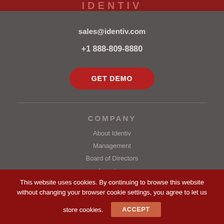IDENTIV
sales@identiv.com
+1 888-809-8880
GET DEMO
COMPANY
About Identiv
Management
Board of Directors
Investors
This website uses cookies. By continuing to browse this website without changing your browser cookie settings, you agree to let us store cookies.
ACCEPT